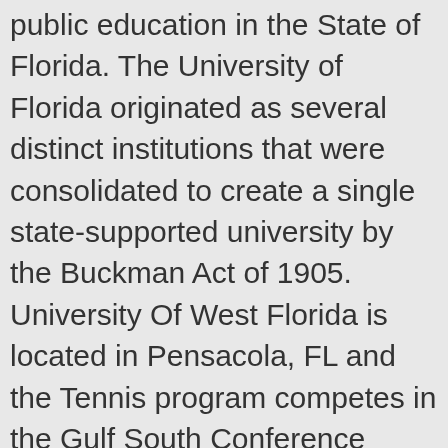public education in the State of Florida. The University of Florida originated as several distinct institutions that were consolidated to create a single state-supported university by the Buckman Act of 1905. University Of West Florida is located in Pensacola, FL and the Tennis program competes in the Gulf South Conference conference. Most students ... Go Argos! University of West Florida; University of West Florida Salaries . University of West Florida-The appearance of U.S. Department of Defense visual information does not imply or constitute DoD endorsement. For more information on the MS in Athletic Training program, you can contact Dr. Kelley Henderson - khenderson@uwf.edu. Reviewing a detailed analysis of university athletics and working with a national [...] Athletics Events . There are 6 head coaches for men's teams. Yes. I landed here because uh I actually when I graduated high school, I did prep school at the United States Naval Academy Prep School. In January,